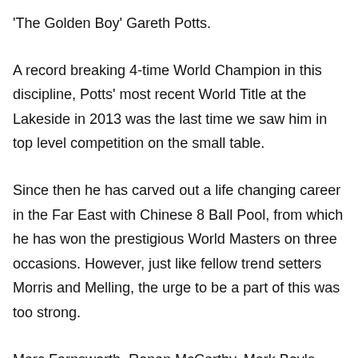'The Golden Boy' Gareth Potts.
A record breaking 4-time World Champion in this discipline, Potts' most recent World Title at the Lakeside in 2013 was the last time we saw him in top level competition on the small table.
Since then he has carved out a life changing career in the Far East with Chinese 8 Ball Pool, from which he has won the prestigious World Masters on three occasions. However, just like fellow trend setters Morris and Melling, the urge to be a part of this was too strong.
Marc Farnsworth, Ronan McCarthy, Mark Boyle, Rob Chilton, Lee